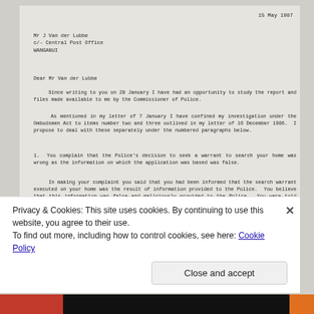15 May 1987
Mr J Van der Lubbe
c/- Central Post Office
WANGANUI
Dear Mr Van der Lubbe
Since writing to you on 20 January I have had an opportunity to study the report and files made available to me by the Commissioner of Police.
As mentioned in my letter of 7 January I have confined my investigation under the Ombudsmen Act to items number two and three outlined in my letter of 16 December 1986. I propose to deal with these separately under the numbered paragraphs below.
1. You complain that the Police's decision to seek a warrant to search your home was wrong as the information on which the application was based was false.
In making your complaint you said that you had been informed that the search warrant executed on your home was the result of information provided to the Police. You believe that this information was false and maliciously provided to the Police. You were told that you were "well known in the Wanganui drug scene, a user and dealer of hard drugs and that you were responsible for a recent chemist shop break-in". You said that your brother who was a traffic officer was approached by the Police and asked about your involvement with drugs. Apart from the trauma of a body
Privacy & Cookies: This site uses cookies. By continuing to use this website, you agree to their use.
To find out more, including how to control cookies, see here: Cookie Policy
Close and accept